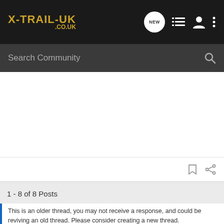X-TRAIL-UK .CO.UK
Search Community
1 - 8 of 8 Posts
This is an older thread, you may not receive a response, and could be reviving an old thread. Please consider creating a new thread.
Join the discussion